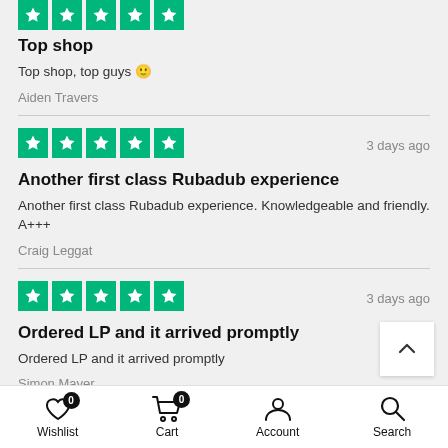[Figure (other): 5 green Trustpilot star rating boxes]
Top shop
Top shop, top guys 🙂
Aiden Travers
[Figure (other): 5 green Trustpilot star rating boxes]
3 days ago
Another first class Rubadub experience
Another first class Rubadub experience. Knowledgeable and friendly. A+++
Craig Leggat
[Figure (other): 5 green Trustpilot star rating boxes]
3 days ago
Ordered LP and it arrived promptly
Ordered LP and it arrived promptly
Simon Mayer
Wishlist  Cart  Account  Search